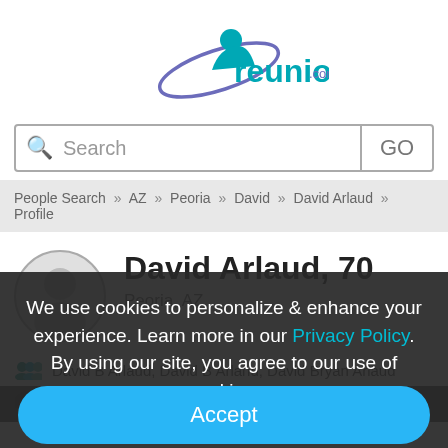[Figure (logo): reunion.com logo with teal/blue color scheme and figure icon]
Search GO
People Search » AZ » Peoria » David » David Arlaud » Profile
David Arlaud, 70
Peoria, AZ
David B Arlaud, David B Arland, David Bryan Arlaud
MOON VALLEY HIGH SCHOOL
We use cookies to personalize & enhance your experience. Learn more in our Privacy Policy. By using our site, you agree to our use of cookies.
Accept